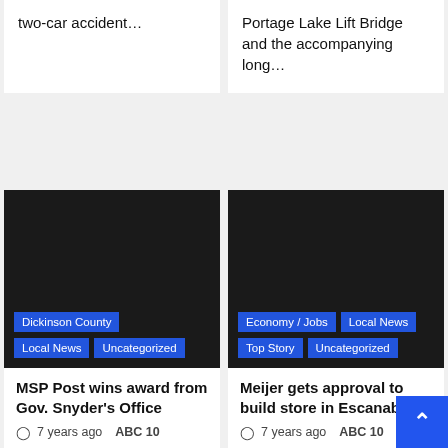two-car accident…
Portage Lake Lift Bridge and the accompanying long…
[Figure (photo): Dark/black image placeholder for news article, with category tags: Dickinson County, Local News, Uncategorized]
[Figure (photo): Dark/black image placeholder for news article, with category tags: Economy / Jobs, Local News, Top Story, Uncategorized]
MSP Post wins award from Gov. Snyder's Office
7 years ago  ABC 10
IRON MOUNTAIN – The Michigan State Police Post…
Meijer gets approval to build store in Escanaba
7 years ago  ABC 10
ESCANABA – A Michigan…